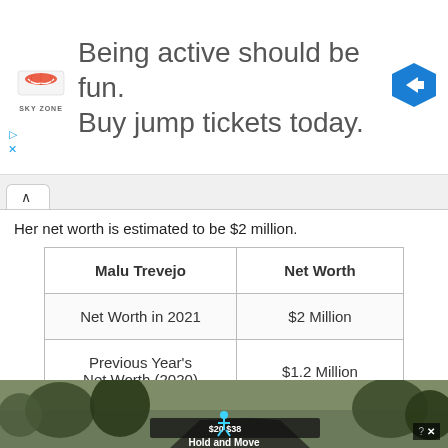[Figure (other): Sky Zone advertisement banner: 'Being active should be fun. Buy jump tickets today.' with Sky Zone logo and navigation arrow icon]
Her net worth is estimated to be $2 million.
| Malu Trevejo | Net Worth |
| --- | --- |
| Net Worth in 2021 | $2 Million |
| Previous Year's Net Worth (2020) | $1.2 Million |
| Salary | Under Review |
| Wealth Source | Singing Career |
[Figure (screenshot): Bottom overlay showing a partial outdoor photo with trees and a 'Hold and Move' app advertisement overlay]